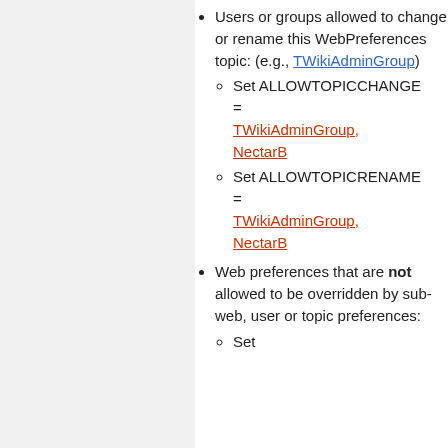Users or groups allowed to change or rename this WebPreferences topic: (e.g., TWikiAdminGroup)
Set ALLOWTOPICCHANGE = TWikiAdminGroup, NectarB
Set ALLOWTOPICRENAME = TWikiAdminGroup, NectarB
Web preferences that are not allowed to be overridden by sub-web, user or topic preferences:
Set